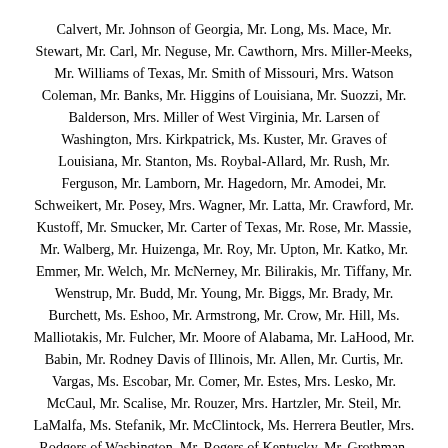Calvert, Mr. Johnson of Georgia, Mr. Long, Ms. Mace, Mr. Stewart, Mr. Carl, Mr. Neguse, Mr. Cawthorn, Mrs. Miller-Meeks, Mr. Williams of Texas, Mr. Smith of Missouri, Mrs. Watson Coleman, Mr. Banks, Mr. Higgins of Louisiana, Mr. Suozzi, Mr. Balderson, Mrs. Miller of West Virginia, Mr. Larsen of Washington, Mrs. Kirkpatrick, Ms. Kuster, Mr. Graves of Louisiana, Mr. Stanton, Ms. Roybal-Allard, Mr. Rush, Mr. Ferguson, Mr. Lamborn, Mr. Hagedorn, Mr. Amodei, Mr. Schweikert, Mr. Posey, Mrs. Wagner, Mr. Latta, Mr. Crawford, Mr. Kustoff, Mr. Smucker, Mr. Carter of Texas, Mr. Rose, Mr. Massie, Mr. Walberg, Mr. Huizenga, Mr. Roy, Mr. Upton, Mr. Katko, Mr. Emmer, Mr. Welch, Mr. McNerney, Mr. Bilirakis, Mr. Tiffany, Mr. Wenstrup, Mr. Budd, Mr. Young, Mr. Biggs, Mr. Brady, Mr. Burchett, Ms. Eshoo, Mr. Armstrong, Mr. Crow, Mr. Hill, Ms. Malliotakis, Mr. Fulcher, Mr. Moore of Alabama, Mr. LaHood, Mr. Babin, Mr. Rodney Davis of Illinois, Mr. Allen, Mr. Curtis, Mr. Vargas, Ms. Escobar, Mr. Comer, Mr. Estes, Mrs. Lesko, Mr. McCaul, Mr. Scalise, Mr. Rouzer, Mrs. Hartzler, Mr. Steil, Mr. LaMalfa, Ms. Stefanik, Mr. McClintock, Ms. Herrera Beutler, Mrs. Rodgers of Washington, Mr. Rogers of Kentucky, Mr. Grothman, Mr. Austin Scott of Georgia, Mr. Loudermilk, Mr. Cloud, Mr.